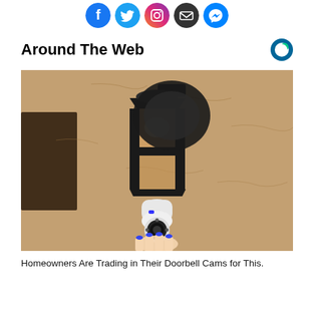[Figure (illustration): Row of five social media icon buttons: Facebook (blue circle with 'f'), Twitter (blue circle with bird), Instagram (gradient circle with camera icon), Email (dark circle with envelope), Messenger (blue circle with lightning bolt chat icon)]
Around The Web
[Figure (photo): Photo of an outdoor wall lantern mounted on a textured stucco wall. A white security camera is installed beneath it and a hand with blue nail polish is touching the camera.]
Homeowners Are Trading in Their Doorbell Cams for This.